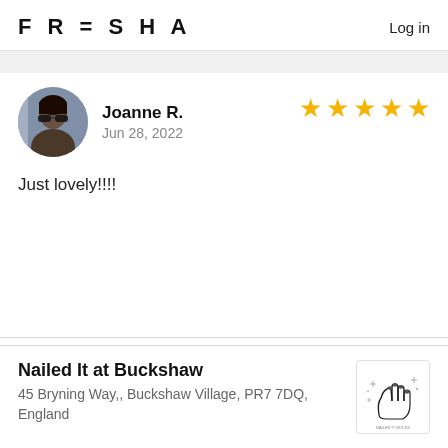FRESHA  Log in
Joanne R.
Jun 28, 2022
Just lovely!!!!
Nailed It at Buckshaw
45 Bryning Way,, Buckshaw Village, PR7 7DQ, England